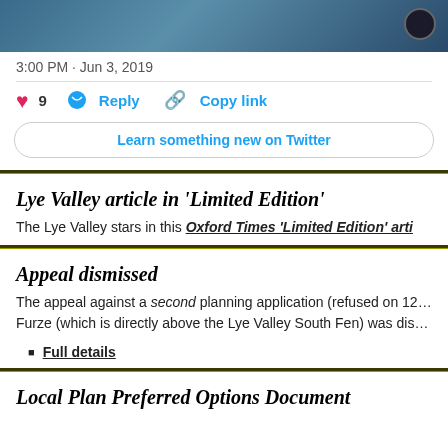[Figure (photo): Partial photo strip showing a dark circular object, likely a person's head/shoulder against a blue-grey background]
3:00 PM · Jun 3, 2019
9  Reply  Copy link
Learn something new on Twitter
Lye Valley article in 'Limited Edition'
The Lye Valley stars in this Oxford Times 'Limited Edition' arti…
Appeal dismissed
The appeal against a second planning application (refused on 12… Furze (which is directly above the Lye Valley South Fen) was dis…
Full details
Local Plan Preferred Options Document